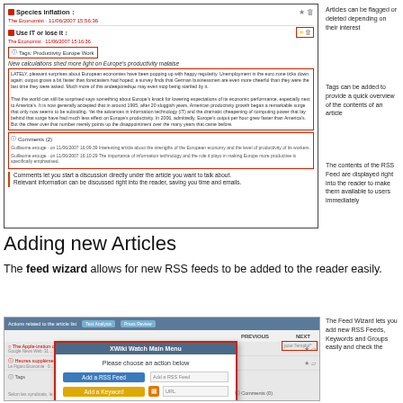[Figure (screenshot): Screenshot of an RSS reader showing article 'Species inflation' from The Economist with tags, article body text, and comments section. Annotations on right describe features: flagging/deleting, tags, RSS feed contents, and comments functionality.]
Adding new Articles
The feed wizard allows for new RSS feeds to be added to the reader easily.
[Figure (screenshot): Screenshot of XWiki Watch Main Menu popup showing options: Add a RSS Feed, Add a Keyword, Create a Group. Annotation on right describes Feed Wizard functionality.]